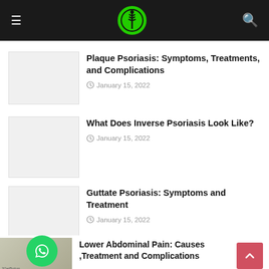Medical website header with navigation
Plaque Psoriasis: Symptoms, Treatments, and Complications
January 15, 2022
What Does Inverse Psoriasis Look Like?
January 15, 2022
Guttate Psoriasis: Symptoms and Treatment
January 15, 2022
POPULAR POSTS
Lower Abdominal Pain: Causes ,Treatment and Complications